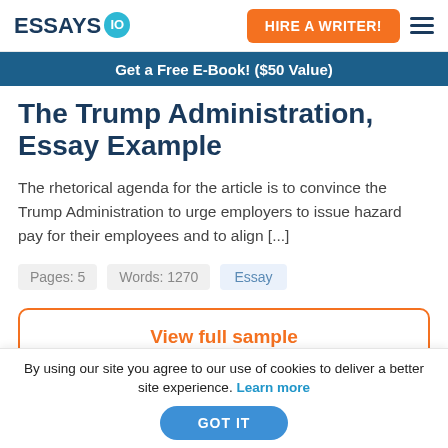ESSAYS IO | HIRE A WRITER!
Get a Free E-Book! ($50 Value)
The Trump Administration, Essay Example
The rhetorical agenda for the article is to convince the Trump Administration to urge employers to issue hazard pay for their employees and to align [...]
Pages: 5   Words: 1270   Essay
View full sample
By using our site you agree to our use of cookies to deliver a better site experience. Learn more
GOT IT